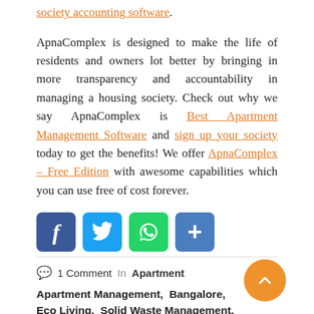society accounting software.
ApnaComplex is designed to make the life of residents and owners lot better by bringing in more transparency and accountability in managing a housing society. Check out why we say ApnaComplex is Best Apartment Management Software and sign up your society today to get the benefits! We offer ApnaComplex – Free Edition with awesome capabilities which you can use free of cost forever.
[Figure (infographic): Social sharing icons: Facebook (blue), Twitter (light blue), WhatsApp (green), Share/AddThis (blue)]
1 Comment  In  Apartment
Apartment Management,  Bangalore,  Eco Living,  Solid Waste Management,